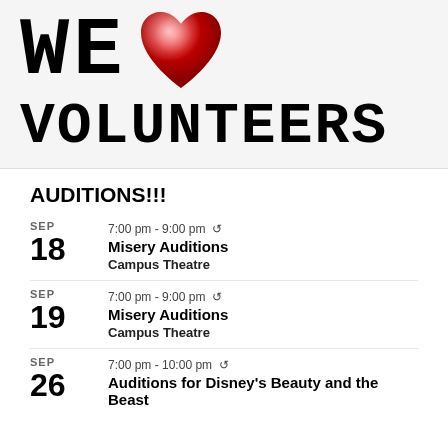[Figure (illustration): WE LOVE (heart symbol) VOLUNTEERS graphic with large typewriter-style text and a red 3D heart icon]
AUDITIONS!!!
SEP 18 — 7:00 pm - 9:00 pm — Misery Auditions — Campus Theatre
SEP 19 — 7:00 pm - 9:00 pm — Misery Auditions — Campus Theatre
SEP 26 — 7:00 pm - 10:00 pm — Auditions for Disney's Beauty and the Beast